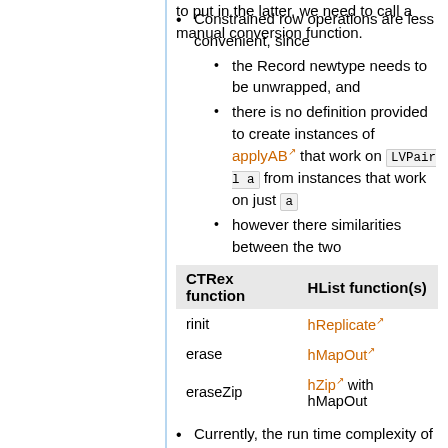to put in the latter, we need to call a manual conversion function.
Constrained row operations are less convenient, since
the Record newtype needs to be unwrapped, and
there is no definition provided to create instances of applyAB that work on LVPair l a from instances that work on just a
however there similarities between the two
| CTRex function | HList function(s) |
| --- | --- |
| rinit | hReplicate |
| erase | hMapOut |
| eraseZip | hZip with hMapOut |
Currently, the run time complexity of extend, restriction and lookup is O(n), versus O(log n) for CTRex.